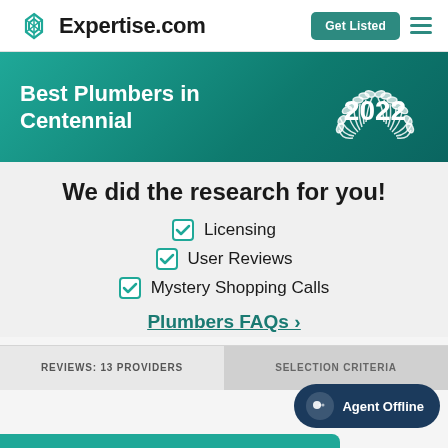Expertise.com — Get Listed
[Figure (screenshot): Expertise.com website screenshot showing Best Plumbers in Centennial 2022 banner with teal gradient background and laurel wreath decoration]
We did the research for you!
Licensing
User Reviews
Mystery Shopping Calls
Plumbers FAQs →
REVIEWS: 13 PROVIDERS   SELECTION CRITERIA   Agent Offline